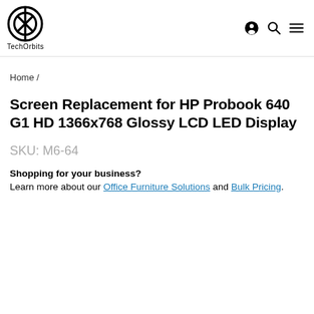TechOrbits [logo with navigation icons]
Home /
Screen Replacement for HP Probook 640 G1 HD 1366x768 Glossy LCD LED Display
SKU: M6-64
Shopping for your business?
Learn more about our Office Furniture Solutions and Bulk Pricing.